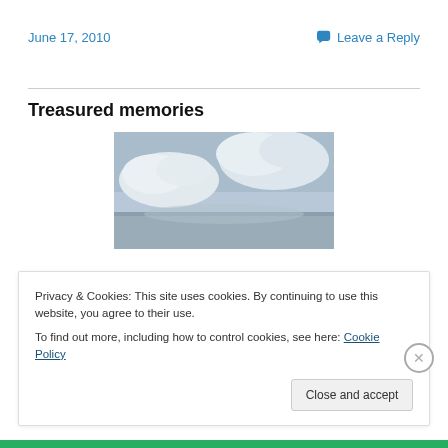June 17, 2010
Leave a Reply
Treasured memories
[Figure (photo): Sky photo showing clouds against a grey-blue sky, landscape orientation]
Privacy & Cookies: This site uses cookies. By continuing to use this website, you agree to their use.
To find out more, including how to control cookies, see here: Cookie Policy
Close and accept